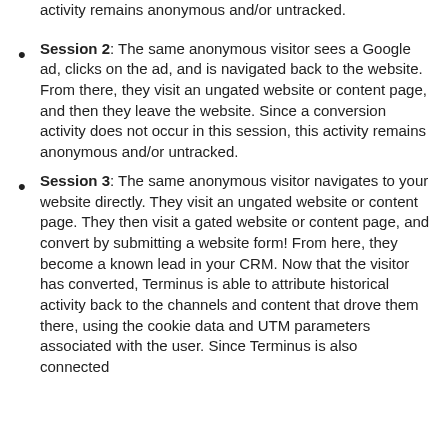activity remains anonymous and/or untracked.
Session 2: The same anonymous visitor sees a Google ad, clicks on the ad, and is navigated back to the website. From there, they visit an ungated website or content page, and then they leave the website. Since a conversion activity does not occur in this session, this activity remains anonymous and/or untracked.
Session 3: The same anonymous visitor navigates to your website directly. They visit an ungated website or content page. They then visit a gated website or content page, and convert by submitting a website form! From here, they become a known lead in your CRM. Now that the visitor has converted, Terminus is able to attribute historical activity back to the channels and content that drove them there, using the cookie data and UTM parameters associated with the user. Since Terminus is also connected